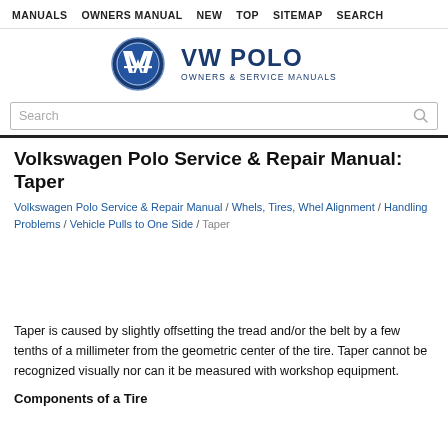MANUALS  OWNERS MANUAL  NEW  TOP  SITEMAP  SEARCH
[Figure (logo): VW Polo Owners & Service Manuals logo with VW circular badge icon]
Volkswagen Polo Service & Repair Manual: Taper
Volkswagen Polo Service & Repair Manual / Whels, Tires, Whel Alignment / Handling Problems / Vehicle Pulls to One Side / Taper
Taper is caused by slightly offsetting the tread and/or the belt by a few tenths of a millimeter from the geometric center of the tire. Taper cannot be recognized visually nor can it be measured with workshop equipment.
Components of a Tire